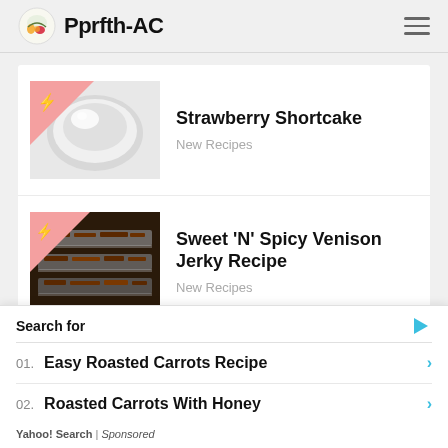Pprfth-AC
[Figure (illustration): Strawberry Shortcake recipe thumbnail: white plate with glass bowl on light background, pink triangle badge with lightning bolt in top-left corner]
Strawberry Shortcake
New Recipes
[Figure (photo): Sweet N Spicy Venison Jerky Recipe thumbnail: trays of jerky meat in oven/dehydrator, pink triangle badge with lightning bolt in top-left corner]
Sweet 'N' Spicy Venison Jerky Recipe
New Recipes
Search for
01. Easy Roasted Carrots Recipe
02. Roasted Carrots With Honey
Yahoo! Search | Sponsored